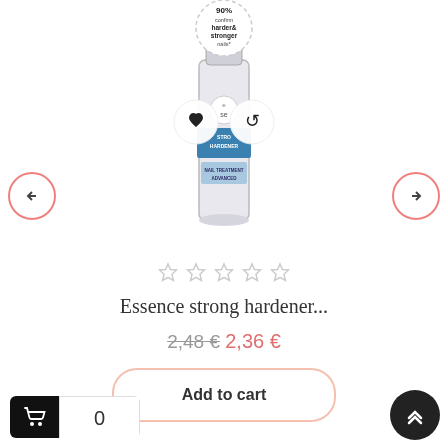[Figure (photo): Essence strong hardener nail treatment advanced product bottle with label showing '90% confirm harder & stronger nails*', with wishlist (heart) and share (retweet) overlay buttons]
Essence strong hardener...
2,48 € 2,36 €
Add to cart